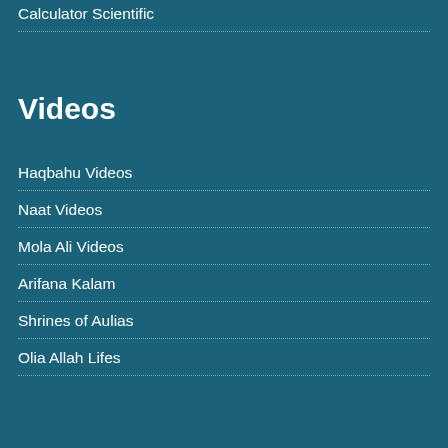Calculator Scientific
Videos
Haqbahu Videos
Naat Videos
Mola Ali Videos
Arifana Kalam
Shrines of Aulias
Olia Allah Lifes